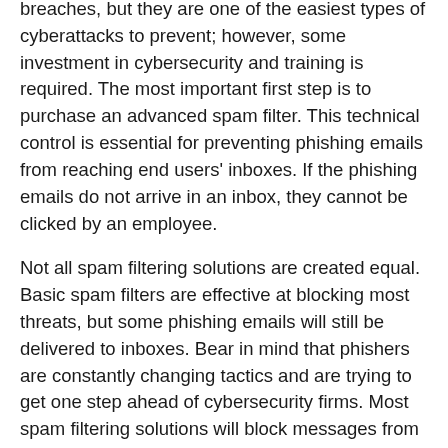breaches, but they are one of the easiest types of cyberattacks to prevent; however, some investment in cybersecurity and training is required. The most important first step is to purchase an advanced spam filter. This technical control is essential for preventing phishing emails from reaching end users' inboxes. If the phishing emails do not arrive in an inbox, they cannot be clicked by an employee.
Not all spam filtering solutions are created equal. Basic spam filters are effective at blocking most threats, but some phishing emails will still be delivered to inboxes. Bear in mind that phishers are constantly changing tactics and are trying to get one step ahead of cybersecurity firms. Most spam filtering solutions will block messages from malicious IP addresses and IP addresses with poor reputations, along with any messages identified in previous phishing campaigns and messages containing known variants of malware.
Advanced spam filtering solutions...